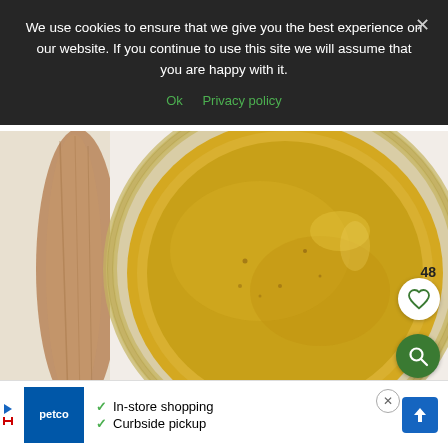We use cookies to ensure that we give you the best experience on our website. If you continue to use this site we will assume that you are happy with it.
Ok   Privacy policy
[Figure (photo): A glass jar filled with golden yellow mustard or honey-mustard sauce, viewed from above, with a wooden spoon partially visible on the left side. The background is white/light gray.]
48
[Figure (other): White circular button with a heart icon (like button) showing 48 likes]
[Figure (other): Dark green circular button with a magnifying glass search icon]
In-store shopping
Curbside pickup